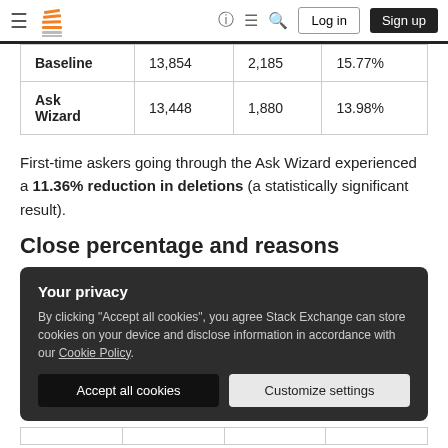Stack Overflow navigation bar with hamburger menu, logo, help, chat, search icons, Log in and Sign up buttons
| Baseline | 13,854 | 2,185 | 15.77% |
| Ask Wizard | 13,448 | 1,880 | 13.98% |
First-time askers going through the Ask Wizard experienced a 11.36% reduction in deletions (a statistically significant result).
Close percentage and reasons
Your privacy
By clicking "Accept all cookies", you agree Stack Exchange can store cookies on your device and disclose information in accordance with our Cookie Policy.
[Accept all cookies] [Customize settings]